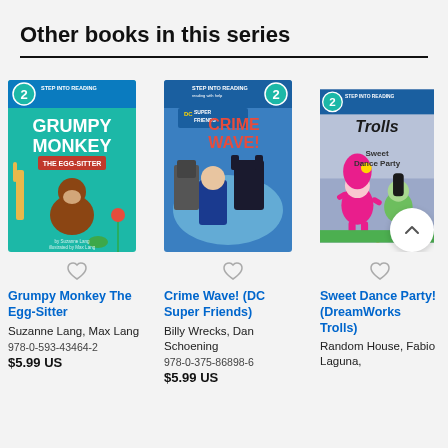Other books in this series
[Figure (illustration): Book cover: Grumpy Monkey The Egg-Sitter, Step Into Reading level 2, teal background with cartoon monkey and giraffe]
[Figure (illustration): Book cover: Crime Wave! (DC Super Friends), Step Into Reading level 2, blue background with Batman and Superman]
[Figure (illustration): Book cover: Sweet Dance Party! (DreamWorks Trolls), Step Into Reading level 2, purple background with Trolls characters]
Grumpy Monkey The Egg-Sitter
Suzanne Lang, Max Lang
978-0-593-43464-2
$5.99 US
Crime Wave! (DC Super Friends)
Billy Wrecks, Dan Schoening
978-0-375-86898-6
$5.99 US
Sweet Dance Party! (DreamWorks Trolls)
Random House, Fabio Laguna,
$5.99 US